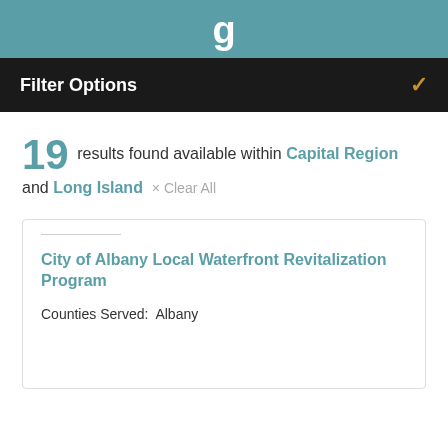g
Filter Options
19 results found available within Capital Region and Long Island × Clear All
City of Albany Local Waterfront Revitalization Program
Counties Served:  Albany